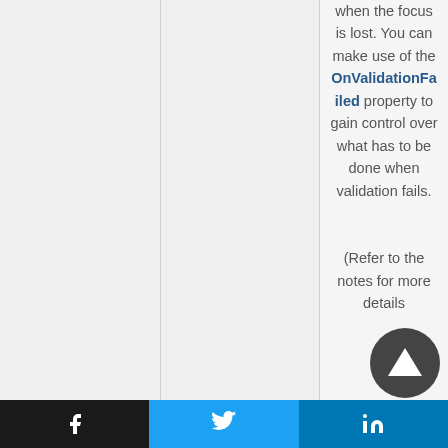when the focus is lost. You can make use of the OnValidationFailed property to gain control over what has to be done when validation fails.

(Refer to the notes for more details
[Figure (other): Scroll-to-top circular button with dark background and upward triangle arrow]
Facebook | Twitter | LinkedIn social share buttons